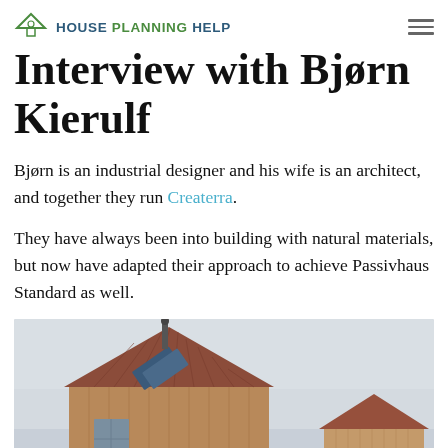House Planning Help
Interview with Bjørn Kierulf
Bjørn is an industrial designer and his wife is an architect, and together they run Createrra.
They have always been into building with natural materials, but now have adapted their approach to achieve Passivhaus Standard as well.
[Figure (photo): Exterior photo of a timber-clad Passivhaus building with a steep metal roof, a chimney pipe, and solar panels visible on the roof. A second smaller timber-clad building is visible in the background under an overcast sky.]